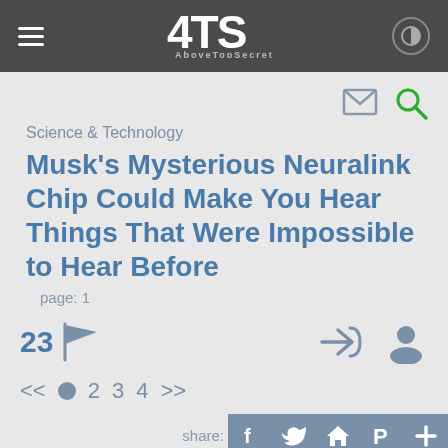AboveTopSecret
Science & Technology
Musk's Mysterious Neuralink Chip Could Make You Hear Things That Were Impossible to Hear Before
page: 1
23
<< 1 2 3 4 >>
share: